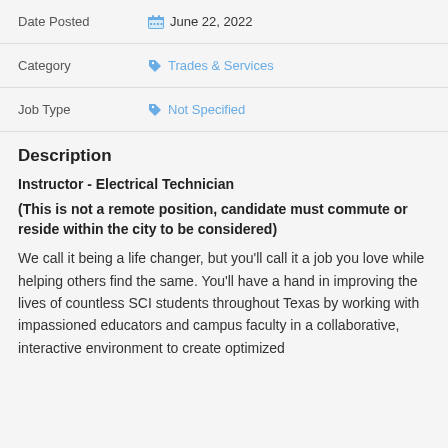| Field | Value |
| --- | --- |
| Date Posted | June 22, 2022 |
| Category | Trades & Services |
| Job Type | Not Specified |
Description
Instructor - Electrical Technician
(This is not a remote position, candidate must commute or reside within the city to be considered)
We call it being a life changer, but you'll call it a job you love while helping others find the same. You'll have a hand in improving the lives of countless SCI students throughout Texas by working with impassioned educators and campus faculty in a collaborative, interactive environment to create optimized